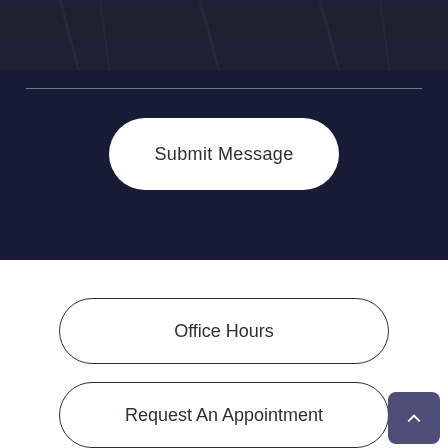[Figure (photo): Dark-toned waterfront scene with bridge structure visible, partially obscured by dark overlay. A horizontal white divider line appears across the image.]
Submit Message
Office Hours
Request An Appointment